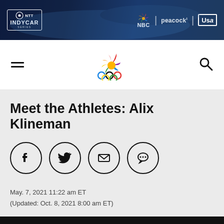[Figure (screenshot): NTT IndyCar Series advertisement banner with NBC, Peacock, and USA Network logos on dark racing background]
[Figure (logo): NBC Sports Olympics logo with colorful peacock feathers above Olympic rings]
Meet the Athletes: Alix Klineman
[Figure (infographic): Social sharing icons: Facebook, Twitter, Email, SMS message circles]
May. 7, 2021 11:22 am ET
(Updated: Oct. 8, 2021 8:00 am ET)